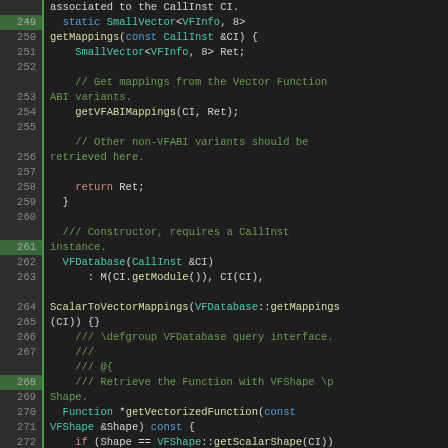[Figure (screenshot): Source code viewer showing C++ code lines 249-273, with line numbers in a gutter on the left (green vertical bar separator), syntax highlighted in dark theme. Code includes VFDatabase class methods: getMappings, getVectorizedFunction, constructor, and related comments.]